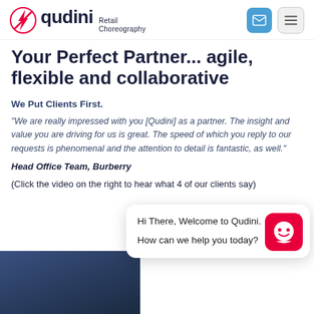Qudini Retail Choreography
Your Perfect Partner... agile, flexible and collaborative
We Put Clients First.
“We are really impressed with you [Qudini] as a partner. The insight and value you are driving for us is great. The speed of which you reply to our requests is phenomenal and the attention to detail is fantastic, as well.”
Head Office Team, Burberry
(Click the video on the right to hear what 4 of our clients say)
[Figure (screenshot): Chat widget overlay: Hi There, Welcome to Qudini. How can we help you today?]
[Figure (photo): Video thumbnail showing a person in a dark background]